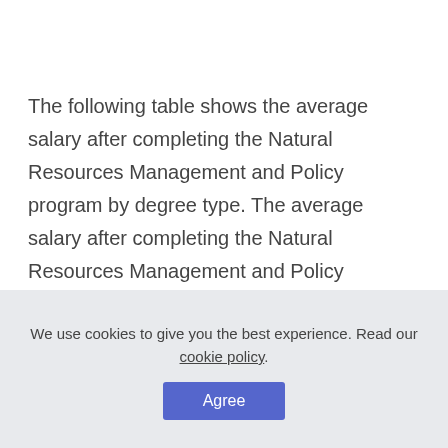The following table shows the average salary after completing the Natural Resources Management and Policy program by degree type. The average salary after completing the Natural Resources Management and Policy program is $31,905 for bachelor's degree and $46,810 for master degree programs.
We use cookies to give you the best experience. Read our cookie policy.